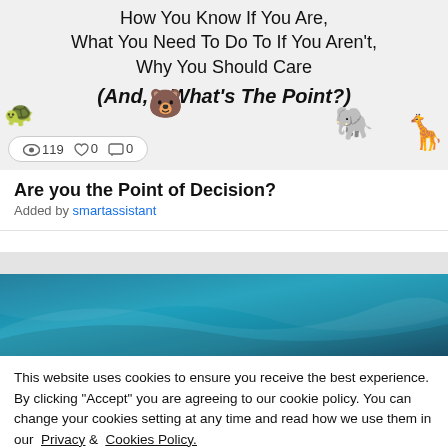[Figure (screenshot): Thumbnail image with gray background showing partial text about a decision topic and animal emoji decorations (monkey, bear, elephant, giraffe). Stats bar shows 119 views, 0 likes, 0 comments.]
Are you the Point of Decision?
Added by smartassistant
[Figure (illustration): Blue wave banner header graphic]
This website uses cookies to ensure you receive the best experience. By clicking "Accept" you are agreeing to our cookie policy. You can change your cookies setting at any time and read how we use them in our Privacy & Cookies Policy.
Accept  Learn more